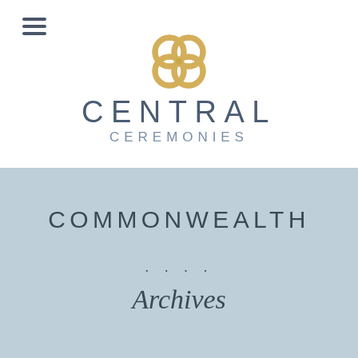[Figure (logo): Central Ceremonies logo: gold interlocking clover/knot symbol above the text CENTRAL CEREMONIES in slate blue, with hamburger menu icon top left]
COMMONWEALTH
....
Archives